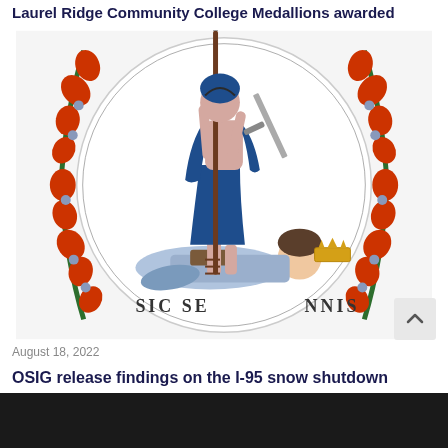Laurel Ridge Community College Medallions awarded
[Figure (illustration): Virginia state seal showing Virtus (a female figure in blue robes) standing over a defeated tyrant with the motto 'SIC SEMPER TYRANNIS' partially visible, surrounded by a decorative wreath of red flowers and green vines.]
August 18, 2022
OSIG release findings on the I-95 snow shutdown